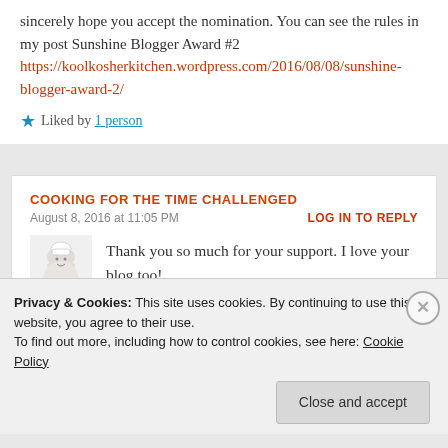sincerely hope you accept the nomination. You can see the rules in my post Sunshine Blogger Award #2 https://koolkosherkitchen.wordpress.com/2016/08/08/sunshine-blogger-award-2/
★ Liked by 1 person
COOKING FOR THE TIME CHALLENGED
August 8, 2016 at 11:05 PM
LOG IN TO REPLY
[Figure (illustration): Chef/cook illustration avatar]
Thank you so much for your support. I love your blog too!
Privacy & Cookies: This site uses cookies. By continuing to use this website, you agree to their use. To find out more, including how to control cookies, see here: Cookie Policy
Close and accept